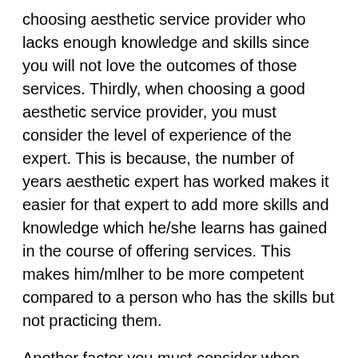choosing aesthetic service provider who lacks enough knowledge and skills since you will not love the outcomes of those services. Thirdly, when choosing a good aesthetic service provider, you must consider the level of experience of the expert. This is because, the number of years aesthetic expert has worked makes it easier for that expert to add more skills and knowledge which he/she learns has gained in the course of offering services. This makes him/mlher to be more competent compared to a person who has the skills but not practicing them.
Another factor you must consider when wlchoosing the right aesthetic service provider is the cost of services. Consider preparing a budget that will guide you to know the limit you are going to go as far as cost is concerned. Some of the aesthetic service providers take advantage of new clients and overcharge them without mercy. You need to avoid falling into such hands by conducting a research on the various aesthetic service providers in the region to know who you can be able for the services you want and who to avoid choosing. In that case, you will be able to pay for the services without straining.